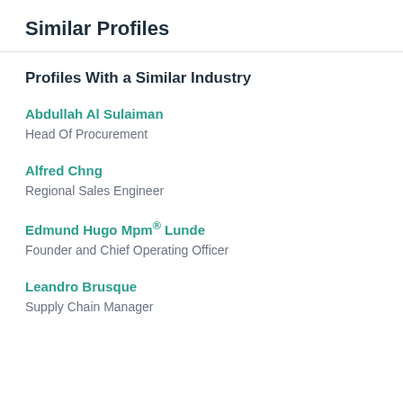Similar Profiles
Profiles With a Similar Industry
Abdullah Al Sulaiman
Head Of Procurement
Alfred Chng
Regional Sales Engineer
Edmund Hugo Mpm® Lunde
Founder and Chief Operating Officer
Leandro Brusque
Supply Chain Manager